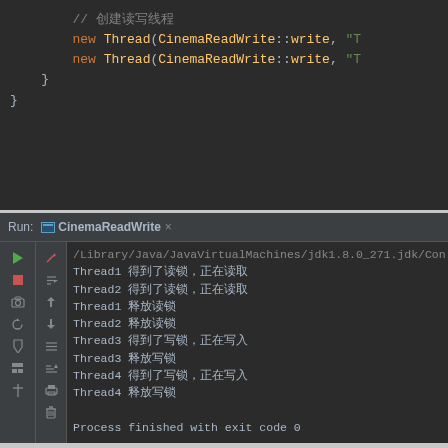[Figure (screenshot): Code editor panel showing Java code with Thread creation using CinemaReadWrite::write method references, dark theme (IntelliJ IDEA style)]
[Figure (screenshot): IDE Run panel showing console output: Thread1/Thread2 getting read locks and releasing, Thread3/Thread4 getting write locks and releasing, process finished with exit code 0]